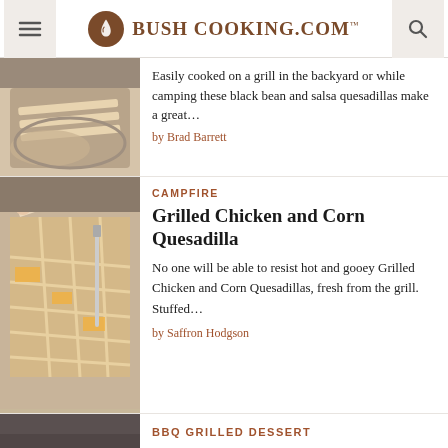Bush Cooking.com
[Figure (photo): Quesadilla cut into strips on a plate, partially visible (top of page crop)]
Easily cooked on a grill in the backyard or while camping these black bean and salsa quesadillas make a great…
by Brad Barrett
CAMPFIRE
Grilled Chicken and Corn Quesadilla
[Figure (photo): Grilled quesadilla being pulled apart showing cheesy filling with corn]
No one will be able to resist hot and gooey Grilled Chicken and Corn Quesadillas, fresh from the grill. Stuffed…
by Saffron Hodgson
BBQ GRILLED DESSERT